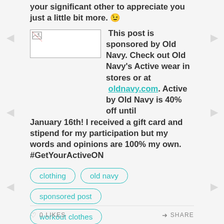your significant other to appreciate you just a little bit more. 😉
[Figure (photo): Small broken image placeholder thumbnail]
This post is sponsored by Old Navy. Check out Old Navy's Active wear in stores or at oldnavy.com. Active by Old Navy is 40% off until January 16th! I received a gift card and stipend for my participation but my words and opinions are 100% my own. #GetYourActiveON
clothing
old navy
sponsored post
workout clothes
0 LIKES
SHARE